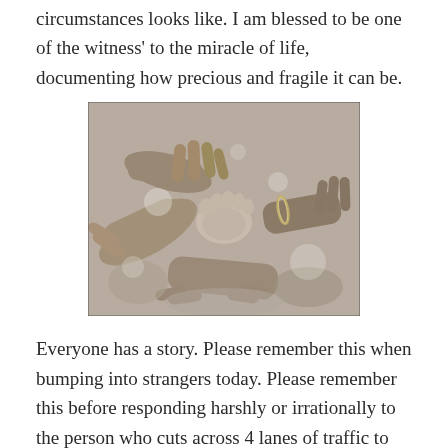circumstances looks like. I am blessed to be one of the witness' to the miracle of life, documenting how precious and fragile it can be.
[Figure (photo): Black and white photograph of multiple adult hands cradling a newborn baby, with soft bokeh light spots visible. One wrist wears a bracelet.]
Everyone has a story. Please remember this when bumping into strangers today. Please remember this before responding harshly or irrationally to the person who cuts across 4 lanes of traffic to avoid missing their exit.
We have no idea from whence a person is coming or